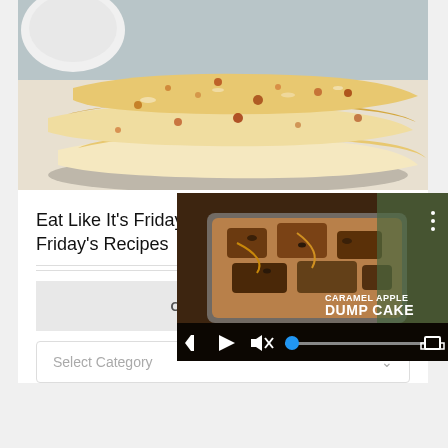[Figure (photo): Breaded and baked fish fillets with golden-brown crust on a white plate]
Eat Like It's Friday
Friday's Recipes
[Figure (screenshot): Video player overlay showing Caramel Apple Dump Cake recipe video with play button, volume/mute icon, progress bar with blue scrubber, and fullscreen button]
CATEGORIES
Select Category